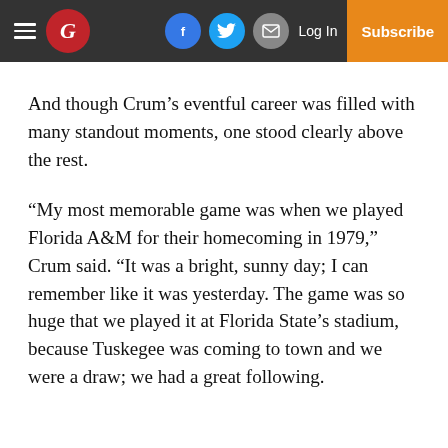Guardian newspaper header with hamburger menu, logo, social icons (Facebook, Twitter, Email), Log In, and Subscribe button
And though Crum’s eventful career was filled with many standout moments, one stood clearly above the rest.
“My most memorable game was when we played Florida A&M for their homecoming in 1979,” Crum said. “It was a bright, sunny day; I can remember like it was yesterday. The game was so huge that we played it at Florida State’s stadium, because Tuskegee was coming to town and we were a draw; we had a great following.